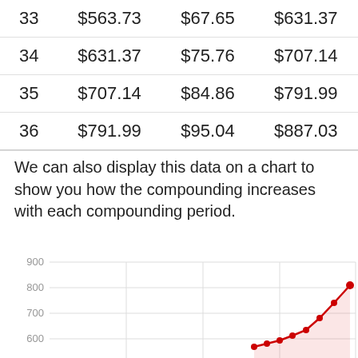| 33 | $563.73 | $67.65 | $631.37 |
| 34 | $631.37 | $75.76 | $707.14 |
| 35 | $707.14 | $84.86 | $791.99 |
| 36 | $791.99 | $95.04 | $887.03 |
We can also display this data on a chart to show you how the compounding increases with each compounding period.
[Figure (line-chart): ]